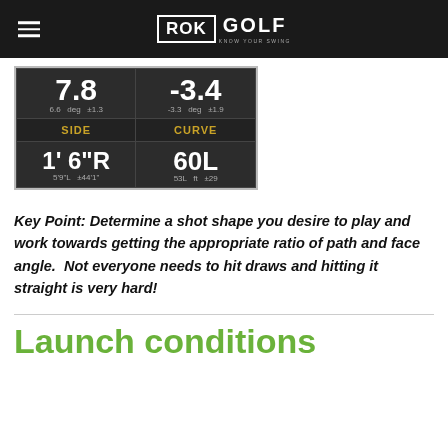ROK GOLF
[Figure (screenshot): ROK Golf app screenshot showing shot data: path 7.8 deg (6.6, ±1.3), face -3.4 deg (-3.3, ±1.9), SIDE: 1' 6"R (5'9"L, ±44'1"), CURVE: 60L ft (53L, ±29)]
Key Point: Determine a shot shape you desire to play and work towards getting the appropriate ratio of path and face angle.  Not everyone needs to hit draws and hitting it straight is very hard!
Launch conditions